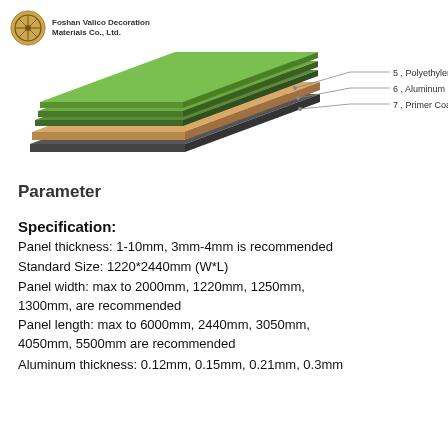[Figure (engineering-diagram): Exploded layer diagram of aluminum composite panel showing stacked layers with callout lines pointing to: 5. Polyethylene Core, 6. Aluminum Sheet, 7. Primer Coating]
Parameter
Specification:
Panel thickness: 1-10mm, 3mm-4mm is recommended
Standard Size: 1220*2440mm (W*L)
Panel width: max to 2000mm, 1220mm, 1250mm, 1300mm, are recommended
Panel length: max to 6000mm, 2440mm, 3050mm, 4050mm, 5500mm are recommended
Aluminum thickness: 0.12mm, 0.15mm, 0.21mm, 0.3mm